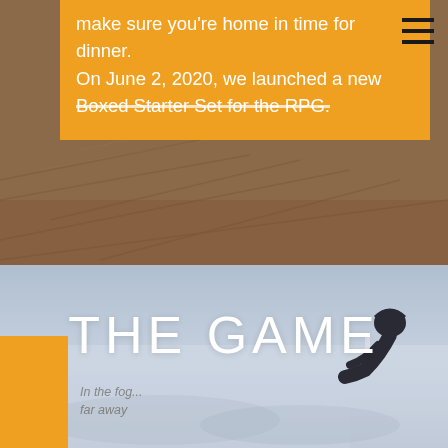[Figure (photo): Website screenshot showing a cycling/outdoor RPG game page. Top section has a brownish outdoor field background with an orange overlay box containing white text about a Boxed Starter Set launch on June 2, 2020. A hamburger menu icon is in the top right. The center shows a large misty/foggy landscape with 'THE GAME' title overlaid in white. Bottom right shows a cyclist silhouette in fog. Bottom left has an orange square accent.]
make sure you're home in time for dinner. On June 2, 2020, we launched a new Boxed Starter Set for the RPG.
THE GAME